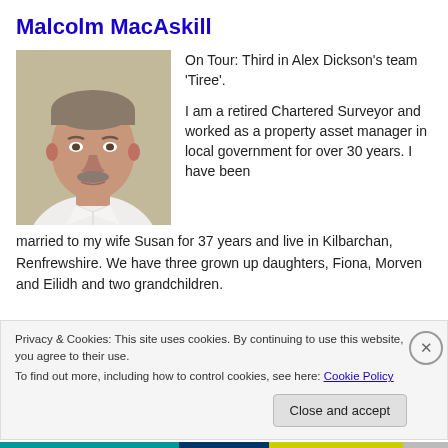Malcolm MacAskill
[Figure (photo): Headshot photo of Malcolm MacAskill, a middle-aged man with grey hair and a moustache, wearing a white shirt, against a beige/grey background.]
On Tour: Third in Alex Dickson's team 'Tiree'.
I am a retired Chartered Surveyor and worked as a property asset manager in local government for over 30 years. I have been married to my wife Susan for 37 years and live in Kilbarchan, Renfrewshire. We have three grown up daughters, Fiona, Morven and Eilidh and two grandchildren.
Privacy & Cookies: This site uses cookies. By continuing to use this website, you agree to their use.
To find out more, including how to control cookies, see here: Cookie Policy
Close and accept